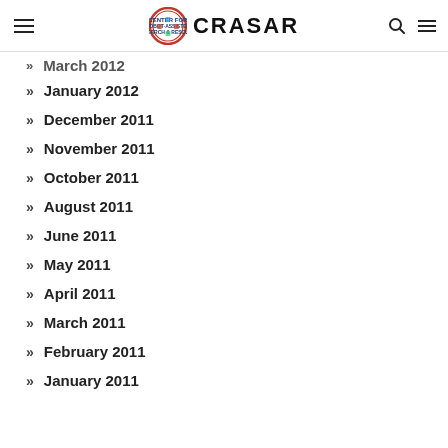CRASAR
March 2012
January 2012
December 2011
November 2011
October 2011
August 2011
June 2011
May 2011
April 2011
March 2011
February 2011
January 2011